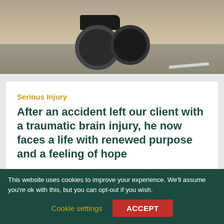[Figure (photo): Close-up of a motorcycle in motion on a road, seen from behind/side, with tarmac and road markings visible]
Serious Injury
After an accident left our client with a traumatic brain injury, he now faces a life with renewed purpose and a feeling of hope
[Figure (photo): Silhouette of a person in a wheelchair against a warm golden sunset sky with trees in the background]
This website uses cookies to improve your experience. We'll assume you're ok with this, but you can opt-out if you wish.
Cookie settings
ACCEPT